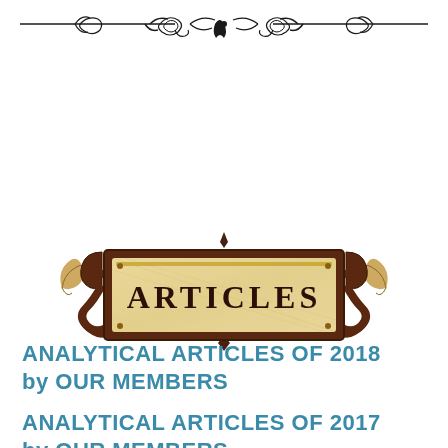[Figure (illustration): Ornamental horizontal divider with scrollwork and floral motifs in black ink]
[Figure (illustration): Decorative wooden sign plaque reading ARTICLES in serif font, flanked by golden feather/leaf ornaments on either side, mounted on dark brown ornate bracket]
ANALYTICAL ARTICLES OF 2018 by OUR MEMBERS
ANALYTICAL ARTICLES OF 2017 by OUR MEMBERS